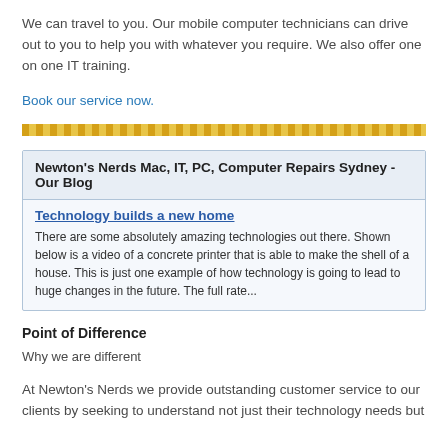We can travel to you. Our mobile computer technicians can drive out to you to help you with whatever you require. We also offer one on one IT training.
Book our service now.
[Figure (other): Diagonal yellow/orange striped divider line]
Newton's Nerds Mac, IT, PC, Computer Repairs Sydney - Our Blog
Technology builds a new home
There are some absolutely amazing technologies out there. Shown below is a video of a concrete printer that is able to make the shell of a house. This is just one example of how technology is going to lead to huge changes in the future. The full rate...
Point of Difference
Why we are different
At Newton's Nerds we provide outstanding customer service to our clients by seeking to understand not just their technology needs but